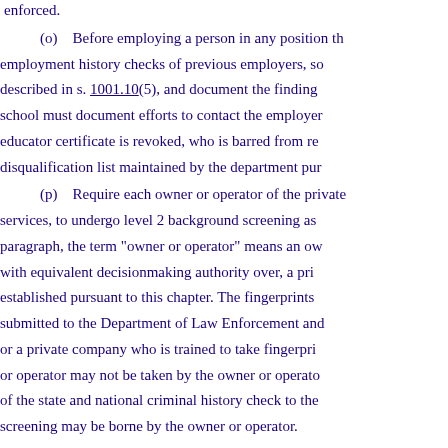enforced.
(o) Before employing a person in any position the employment history checks of previous employers, so described in s. 1001.10(5), and document the findings school must document efforts to contact the employer educator certificate is revoked, who is barred from re disqualification list maintained by the department pur
(p) Require each owner or operator of the private services, to undergo level 2 background screening as paragraph, the term "owner or operator" means an ow with equivalent decisionmaking authority over, a pri established pursuant to this chapter. The fingerprints submitted to the Department of Law Enforcement and or a private company who is trained to take fingerpri or operator may not be taken by the owner or operato of the state and national criminal history check to the screening may be borne by the owner or operator.
1. Every 5 years following employment or engag meet level 2 screening standards as described in s. 43 Department of Law Enforcement to forward the finge screening. If the fingerprints of an owner or operator under subparagraph 2., the owner or operator must el Department of Law Enforcement. Upon submission